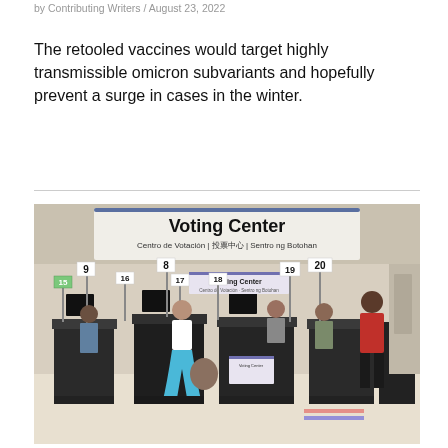by Contributing Writers / August 23, 2022
The retooled vaccines would target highly transmissible omicron subvariants and hopefully prevent a surge in cases in the winter.
[Figure (photo): Interior of a Voting Center with numbered stations (8, 9, 15, 16, 17, 18, 19, 20). A large banner reads 'Voting Center' with multilingual text: 'Centro de Votación | 投票中心 | Sentro ng Botohan'. A smaller sign also reads 'Voting Center'. Several people are at the counters, including a woman in a blue skirt and white top, and a man in a red jacket on the right.]